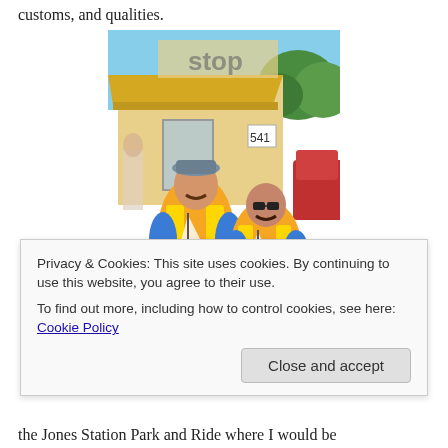customs, and qualities.
[Figure (photo): Two men wearing matching orange, yellow and blue cycling jerseys with mustaches, standing in front of a yellow building (convenience store/gas station). One man wears a gray cap and holds a small sailboat model. Trees and a red car visible in background.]
Privacy & Cookies: This site uses cookies. By continuing to use this website, you agree to their use.
To find out more, including how to control cookies, see here: Cookie Policy
the Jones Station Park and Ride where I would be